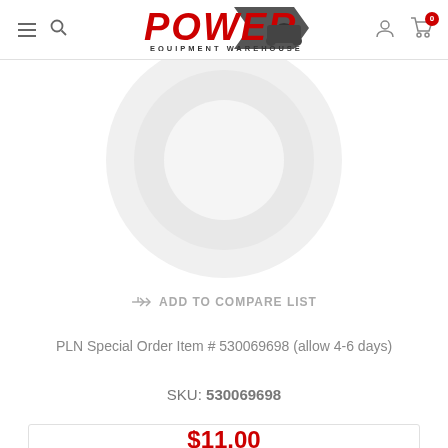Power Equipment Warehouse
[Figure (screenshot): Product placeholder image showing a circular gear/sprocket icon in light gray on white background]
ADD TO COMPARE LIST
PLN Special Order Item # 530069698 (allow 4-6 days)
SKU: 530069698
$11.00